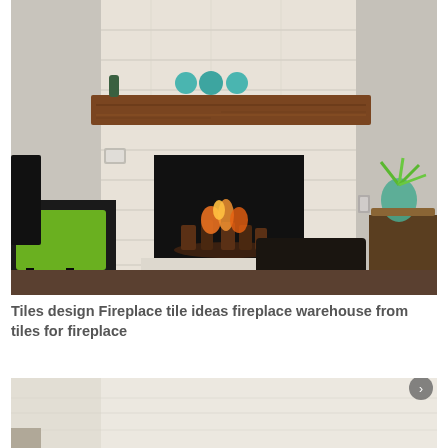[Figure (photo): A modern fireplace with light travertine tile surround, a dark walnut wood mantel shelf, black firebox with burning logs, green upholstered chair on the left, and a glass vase with plant on a side table to the right.]
Tiles design Fireplace tile ideas fireplace warehouse from tiles for fireplace
[Figure (photo): Partial view of a second fireplace image, mostly cropped, showing a light-colored tile or stone surface.]